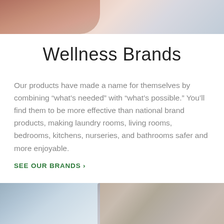[Figure (photo): Partial photo of person's arm/torso, cropped at top of page]
Wellness Brands
Our products have made a name for themselves by combining “what’s needed” with “what’s possible.” You’ll find them to be more effective than national brand products, making laundry rooms, living rooms, bedrooms, kitchens, nurseries, and bathrooms safer and more enjoyable.
SEE OUR BRANDS ›
[Figure (photo): Photo of person's arm with bracelet, partial view at bottom of page]